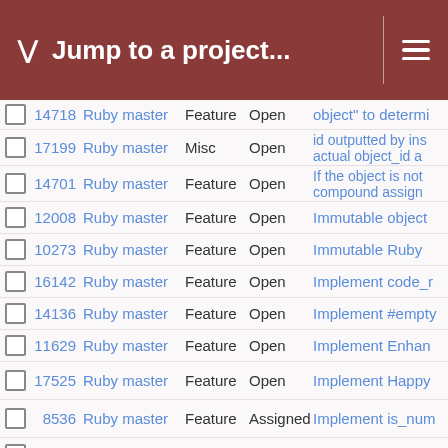Jump to a project...
|  | # | Project | Type | Status | Description |
| --- | --- | --- | --- | --- | --- |
|  | 14718 | Ruby master | Feature | Open | object" to determi... |
|  | 17199 | Ruby master | Misc | Open | id outputted by ins... actual object_id a... |
|  | 14701 | Ruby master | Feature | Open | If the object is not... compound assign... |
|  | 12008 | Ruby master | Feature | Open | Immutable object ... |
|  | 10273 | Ruby master | Feature | Open | Immutable Ruby |
|  | 16142 | Ruby master | Feature | Open | Implement code_r... |
|  | 14136 | Ruby master | Feature | Open | Implement #empty... |
|  | 11629 | Ruby master | Feature | Open | Implement Enhanc... |
|  | 17525 | Ruby master | Feature | Open | Implement Happy |
|  | 8536 | Ruby master | Feature | Assigned | Implement is_num... |
|  | 16741 | Ruby master | Feature | Open | Implement Shellw... |
|  | 12306 | Ruby master | Feature | Open | Implement String a... family to handle u... |
|  | 11588 | Ruby master | Feature | Open | Implement structu... |
|  | 10477 | Ruby master | Feature | Open | Implicit interfaces |